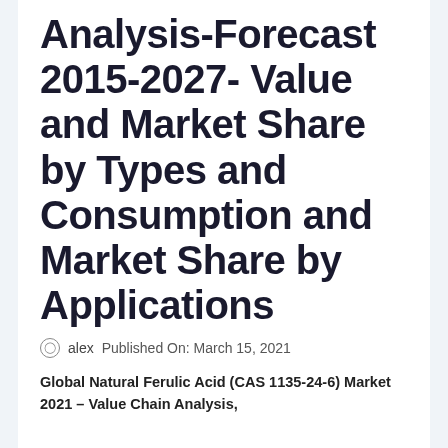Analysis-Forecast 2015-2027- Value and Market Share by Types and Consumption and Market Share by Applications
alex   Published On: March 15, 2021
Global Natural Ferulic Acid (CAS 1135-24-6) Market 2021 – Value Chain Analysis,